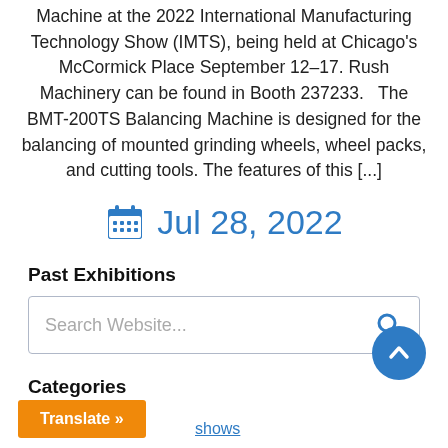Machine at the 2022 International Manufacturing Technology Show (IMTS), being held at Chicago's McCormick Place September 12–17. Rush Machinery can be found in Booth 237233.   The BMT-200TS Balancing Machine is designed for the balancing of mounted grinding wheels, wheel packs, and cutting tools. The features of this [...]
Jul 28, 2022
Past Exhibitions
Search Website...
Categories
Translate »
shows